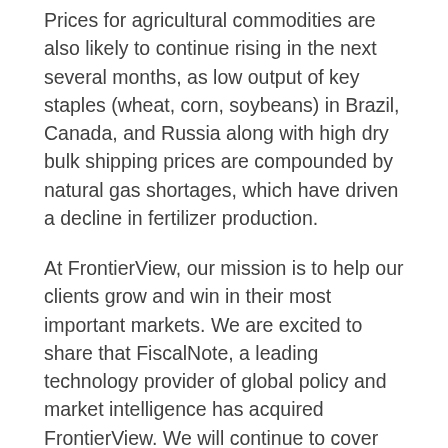Prices for agricultural commodities are also likely to continue rising in the next several months, as low output of key staples (wheat, corn, soybeans) in Brazil, Canada, and Russia along with high dry bulk shipping prices are compounded by natural gas shortages, which have driven a decline in fertilizer production.
At FrontierView, our mission is to help our clients grow and win in their most important markets. We are excited to share that FiscalNote, a leading technology provider of global policy and market intelligence has acquired FrontierView. We will continue to cover issues and topics driving growth in your business, while fully leveraging FiscalNote's portfolio within the global risk, ESG, and geopolitical advisory product suite.
Subscribe to our weekly newsletter The